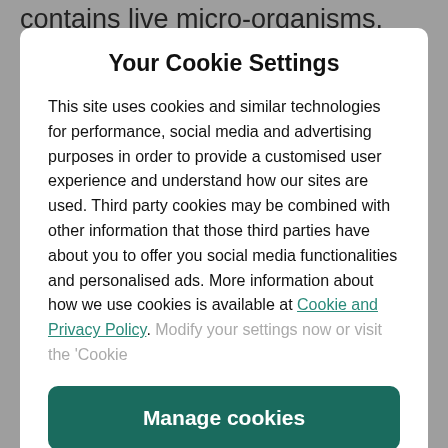contains live micro-organisms.
Your Cookie Settings
This site uses cookies and similar technologies for performance, social media and advertising purposes in order to provide a customised user experience and understand how our sites are used. Third party cookies may be combined with other information that those third parties have about you to offer you social media functionalities and personalised ads. More information about how we use cookies is available at Cookie and Privacy Policy. Modify your settings now or visit the 'Cookie
Manage cookies
Yes I accept
Wellness Edit podcast here